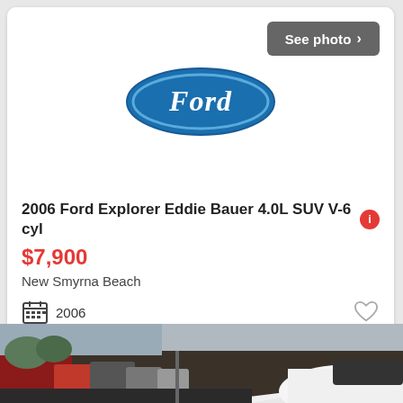[Figure (logo): Ford oval logo in blue with white Ford script text]
[Figure (other): Gray 'See photo >' button in top-right of card image area]
2006 Ford Explorer Eddie Bauer 4.0L SUV V-6 cyl
$7,900
New Smyrna Beach
2006
25 days ago
[Figure (photo): Bottom portion of a white SUV in a parking lot, partially visible]